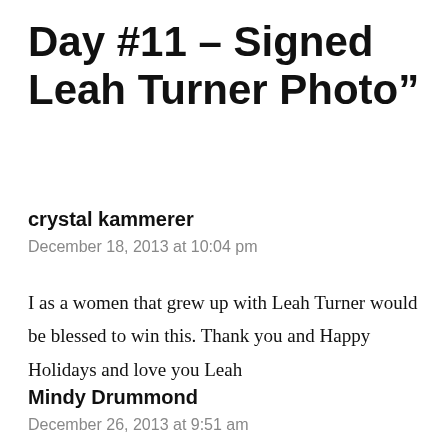Day #11 – Signed Leah Turner Photo"
crystal kammerer
December 18, 2013 at 10:04 pm
I as a women that grew up with Leah Turner would be blessed to win this. Thank you and Happy Holidays and love you Leah
Mindy Drummond
December 26, 2013 at 9:51 am